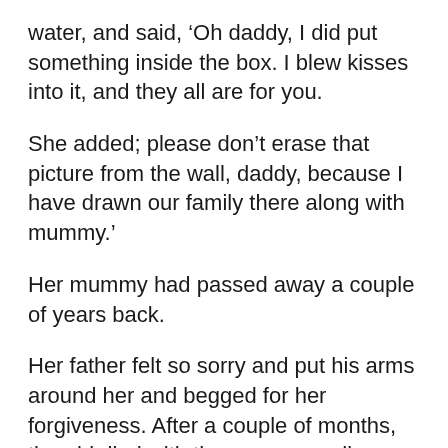water, and said, ‘Oh daddy, I did put something inside the box. I blew kisses into it, and they all are for you.
She added; please don’t erase that picture from the wall, daddy, because I have drawn our family there along with mummy.’
Her mummy had passed away a couple of years back.
Her father felt so sorry and put his arms around her and begged for her forgiveness. After a couple of months, the girl died with the same rare disease as her mother.
Her father kept the box by his side, and whenever he felt down, he would take out an imaginary box of